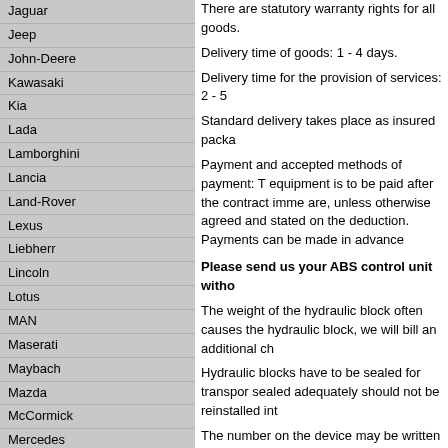Jaguar
Jeep
John-Deere
Kawasaki
Kia
Lada
Lamborghini
Lancia
Land-Rover
Lexus
Liebherr
Lincoln
Lotus
MAN
Maserati
Maybach
Mazda
McCormick
Mercedes
MG
Mini
Mitsubishi
Münch
Neoplan
Nissan
NSU
Opel
Peugeot
Pontiac
Porsche
Proton
Renault
There are statutory warranty rights for all goods.
Delivery time of goods: 1 - 4 days.
Delivery time for the provision of services: 2 - 5
Standard delivery takes place as insured packa
Payment and accepted methods of payment: T equipment is to be paid after the contract imme are, unless otherwise agreed and stated on the deduction. Payments can be made in advance
Please send us your ABS control unit witho
The weight of the hydraulic block often causes the hydraulic block, we will bill an additional ch
Hydraulic blocks have to be sealed for transpor sealed adequately should not be reinstalled int
The number on the device may be written like:
0 265 216 561, 0-265-216-561, 0265-216-561